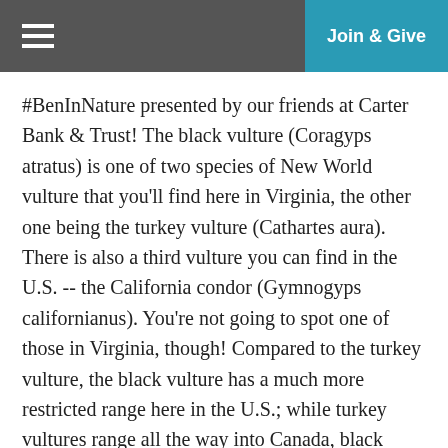Join & Give
#BenInNature presented by our friends at Carter Bank & Trust! The black vulture (Coragyps atratus) is one of two species of New World vulture that you'll find here in Virginia, the other one being the turkey vulture (Cathartes aura). There is also a third vulture you can find in the U.S. -- the California condor (Gymnogyps californianus). You're not going to spot one of those in Virginia, though! Compared to the turkey vulture, the black vulture has a much more restricted range here in the U.S.; while turkey vultures range all the way into Canada, black vultures are generally limited to the southeastern U.S. They have a huge southerly